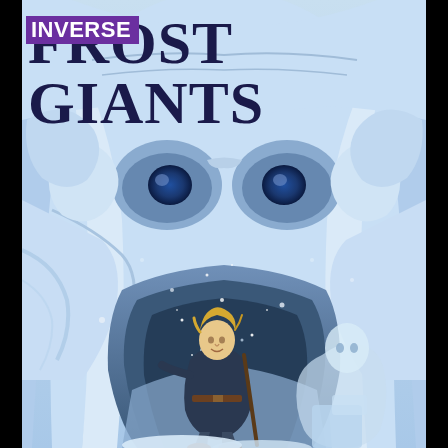[Figure (illustration): Book cover illustration for 'Frost Giants'. A small blonde adventurer in dark medieval clothing stands at the entrance of a massive cave or cavern that is shaped like a giant frost creature's face, with deep blue eyes visible in the ice. The entire scene is rendered in icy blue-white tones with snow and ice textures. A ghostly white figure is visible to the right. The word 'INVERSE' appears as an overlaid logo in purple at top left, and 'FROST GIANTS' is the main title in large dark navy letters across the top.]
FROST GIANTS